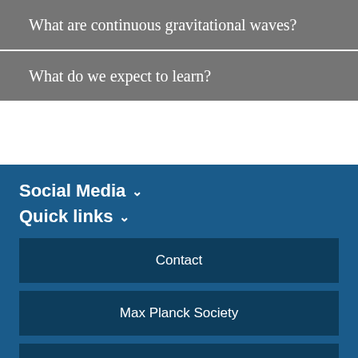What are continuous gravitational waves?
What do we expect to learn?
Social Media ∨
Quick links ∨
Contact
Max Planck Society
Intranet
Code of Conduct